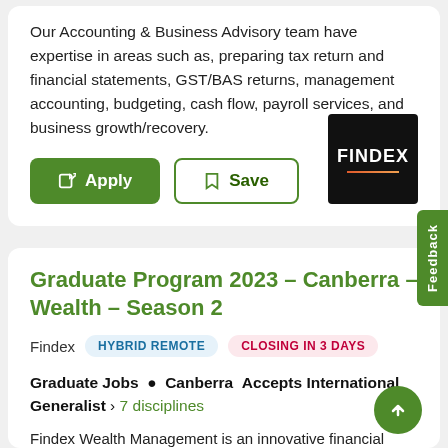Our Accounting & Business Advisory team have expertise in areas such as, preparing tax return and financial statements, GST/BAS returns, management accounting, budgeting, cash flow, payroll services, and business growth/recovery.
[Figure (logo): Findex company logo: black square with white bold text FINDEX and an orange-red underline]
Graduate Program 2023 - Canberra - Wealth - Season 2
Findex   HYBRID REMOTE   CLOSING IN 3 DAYS
Graduate Jobs • Canberra  Accepts International Generalist › 7 disciplines
Findex Wealth Management is an innovative financial